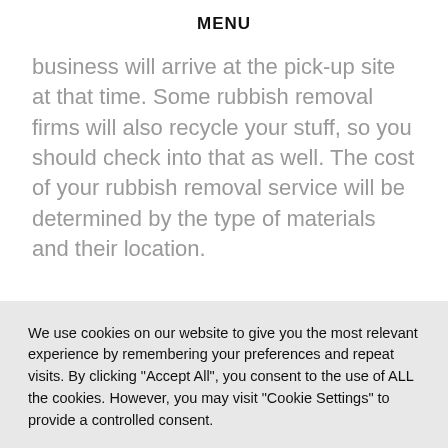MENU
business will arrive at the pick-up site at that time. Some rubbish removal firms will also recycle your stuff, so you should check into that as well. The cost of your rubbish removal service will be determined by the type of materials and their location.
We use cookies on our website to give you the most relevant experience by remembering your preferences and repeat visits. By clicking "Accept All", you consent to the use of ALL the cookies. However, you may visit "Cookie Settings" to provide a controlled consent.